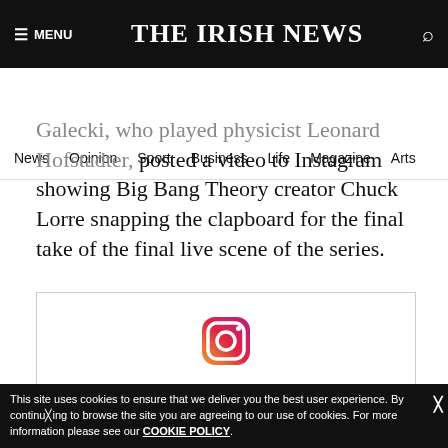≡ MENU  THE IRISH NEWS  🔍
News  Opinion  Sport  Business  Life  Magazine  Arts
Galecki, who played physicist Leonard Hofstadter, posted a video to Instagram showing Big Bang Theory creator Chuck Lorre snapping the clapboard for the final take of the final live scene of the series.
[Figure (screenshot): Embedded Instagram post showing the Instagram logo icon and wordmark 'Instagram' at the bottom of a white embed box.]
This site uses cookies to ensure that we deliver you the best user experience. By continuing to browse the site you are agreeing to our use of cookies. For more information please see our COOKIE POLICY.